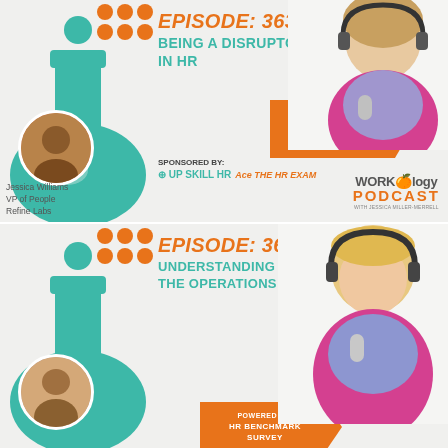[Figure (infographic): Workology Podcast Episode 363 promotional banner. Orange text 'EPISODE: 363', teal text 'BEING A DISRUPTOR IN HR'. Features Jessica Williams, VP of People, Refine Labs as guest. Powered by HR Benchmark Survey. Sponsored by Up Skill HR and Ace the HR Exam. Workology Podcast logo. Host photo with headphones on right side.]
[Figure (infographic): Workology Podcast Episode 362 promotional banner. Orange text 'EPISODE: 362', teal text 'UNDERSTANDING THE OPERATIONS'. Powered by HR Benchmark Survey. Host photo with headphones on right side. Guest photo at bottom left.]